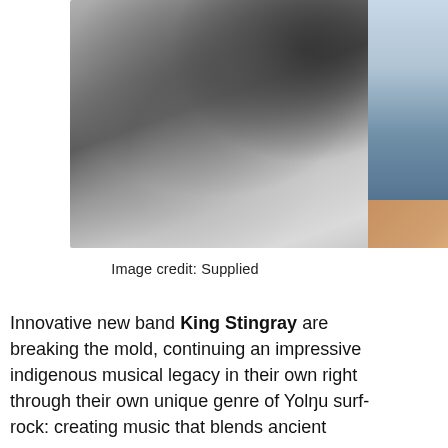[Figure (photo): Black and white photograph of people, partially cropped, showing figures in close proximity. A second partial color photo is visible on the right edge of the page.]
Image credit: Supplied
Innovative new band King Stingray are breaking the mold, continuing an impressive indigenous musical legacy in their own right through their own unique genre of Yolŋu surf-rock: creating music that blends ancient indigenous sounds with modern indie...